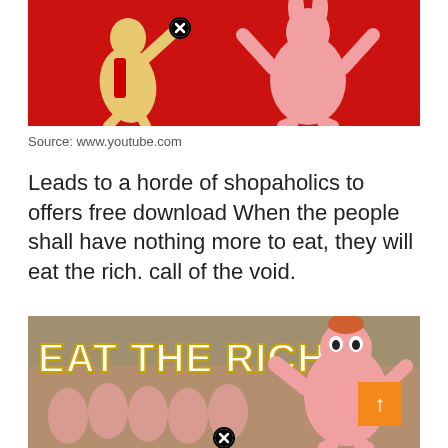[Figure (photo): Two cartoon-like figurines on a red background — a yellow/tan humanoid figure on the left holding something with a close button overlay, and a pink rabbit-like figure on the right with arms raised.]
Source: www.youtube.com
Leads to a horde of shopaholics to offers free download When the people shall have nothing more to eat, they will eat the rich. call of the void.
[Figure (screenshot): Video thumbnail showing text 'EAT THE RICH' in large bold yellow letters on a blurred background with pink cartoon characters. An orange scroll-to-top button and a close/X button overlay are visible.]